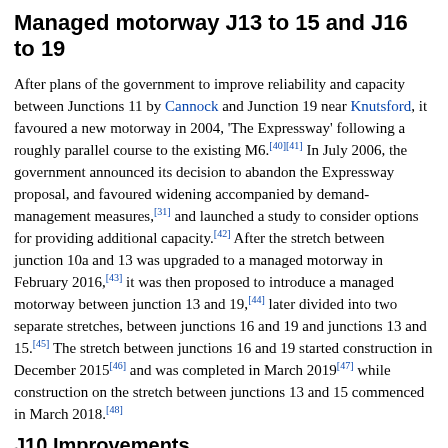Managed motorway J13 to 15 and J16 to 19
After plans of the government to improve reliability and capacity between Junctions 11 by Cannock and Junction 19 near Knutsford, it favoured a new motorway in 2004, 'The Expressway' following a roughly parallel course to the existing M6.[40][41] In July 2006, the government announced its decision to abandon the Expressway proposal, and favoured widening accompanied by demand-management measures,[31] and launched a study to consider options for providing additional capacity.[42] After the stretch between junction 10a and 13 was upgraded to a managed motorway in February 2016,[43] it was then proposed to introduce a managed motorway between junction 13 and 19,[44] later divided into two separate stretches, between junctions 16 and 19 and junctions 13 and 15.[45] The stretch between junctions 16 and 19 started construction in December 2015[46] and was completed in March 2019[47] while construction on the stretch between junctions 13 and 15 commenced in March 2018.[48]
J10 Improvements